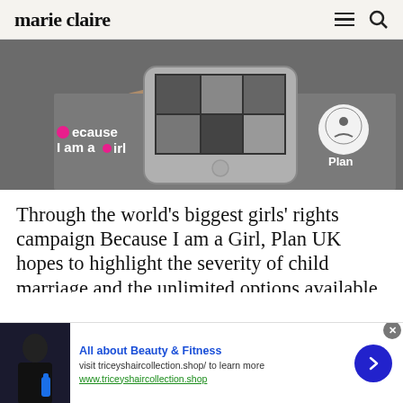marie claire
[Figure (photo): Hand holding a smartphone showing group photos on screen, with 'because I am a girl' logo in pink on left and 'Plan' logo with child icon on right, on a dark background.]
Through the world's biggest girls' rights campaign Because I am a Girl, Plan UK hopes to highlight the severity of child marriage and the unlimited options available to the majority in girl in the UK that ei...
[Figure (other): Advertisement banner for 'All about Beauty & Fitness' with image of woman holding a blue bottle, text 'visit triceyshaircollection.shop/ to learn more', URL 'www.triceyshaircollection.shop', and a blue arrow button.]